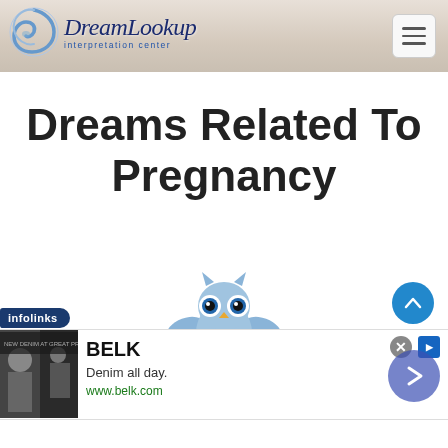[Figure (logo): DreamLookup Interpretation Center logo with swirl graphic and text]
Dreams Related To Pregnancy
[Figure (illustration): Blue cartoon owl labeled ZOLO SUGGESTS]
[Figure (screenshot): Advertisement banner: infolinks / BELK - Denim all day. www.belk.com with close button and navigation arrow]